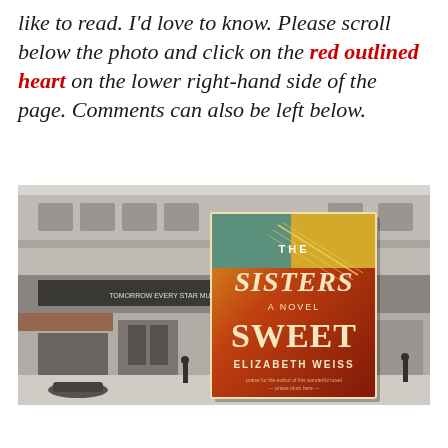like to read. I'd love to know. Please scroll below the photo and click on the red outlined heart on the lower right-hand side of the page. Comments can also be left below.
[Figure (photo): Black and white photograph of a vintage street storefront/theater building, with a color book cover of 'The Sisters Sweet: A Novel by Elizabeth Weiss' overlaid in the center-right of the image.]